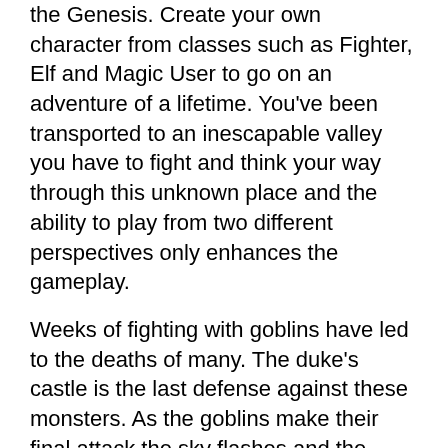the Genesis. Create your own character from classes such as Fighter, Elf and Magic User to go on an adventure of a lifetime. You've been transported to an inescapable valley you have to fight and think your way through this unknown place and the ability to play from two different perspectives only enhances the gameplay.
Weeks of fighting with goblins have led to the deaths of many. The duke's castle is the last defense against these monsters. As the goblins make their final attack the sky flashes and the earth shakes. Before you know it, the castle is sucked away from defeat by the goblins and placed in a strange new world. Thus begins your adventure in Dungeons and Dragons-Warriors of the Eternal Sun.
The castle is located at the bottom of a valley surrounded by unclimbable walls. Monsters roam the wilderness and the people fear they will be overcome by these new enemies. Your mission is to lead a party of heroes and explore the new land.
You lead a party of four characters (either the default